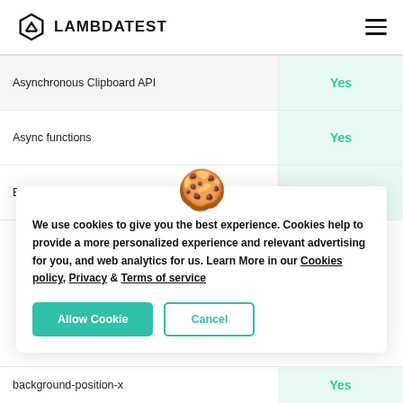LAMBDATEST
| Feature | Support |
| --- | --- |
| Asynchronous Clipboard API | Yes |
| Async functions | Yes |
| Base64 encoding and decoding | Yes |
| background-position-x | Yes |
[Figure (illustration): Cookie emoji icon]
We use cookies to give you the best experience. Cookies help to provide a more personalized experience and relevant advertising for you, and web analytics for us. Learn More in our Cookies policy, Privacy & Terms of service
Allow Cookie   Cancel